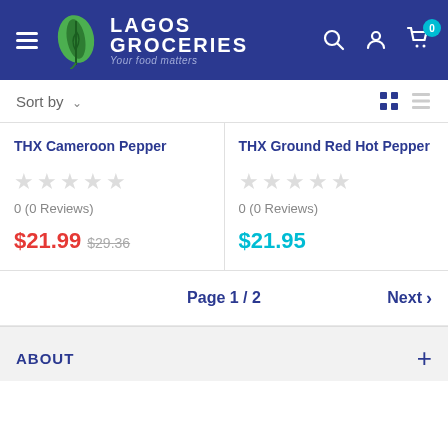[Figure (logo): Lagos Groceries logo with green leaf icon and tagline 'Your food matters' on dark blue header background]
Sort by ▾
THX Cameroon Pepper
0 (0 Reviews)
$21.99  $29.36
THX Ground Red Hot Pepper
0 (0 Reviews)
$21.95
Page 1 / 2
Next >
ABOUT